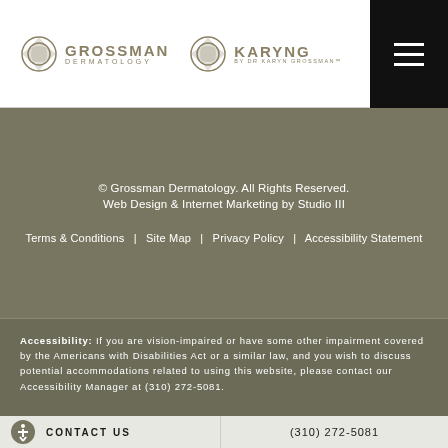Grossman Dermatology | KARYNG BY DR KARYN GROSSMAN
© Grossman Dermatology. All Rights Reserved. Web Design & Internet Marketing by Studio III
Terms & Conditions | Site Map | Privacy Policy | Accessibility Statement
Accessibility: If you are vision-impaired or have some other impairment covered by the Americans with Disabilities Act or a similar law, and you wish to discuss potential accommodations related to using this website, please contact our Accessibility Manager at (310) 272-5081.
CONTACT US   (310) 272-5081